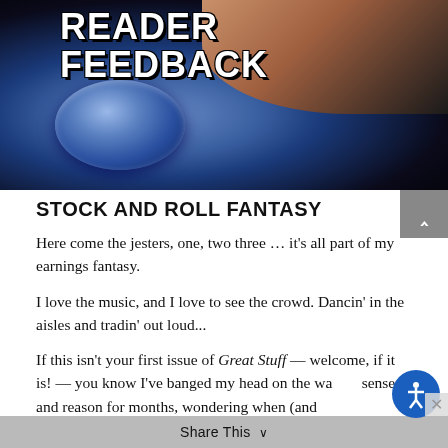[Figure (photo): Meme image of a blue button being pressed by a finger, with bold white text reading 'READER FEEDBACK' overlaid on the button area.]
STOCK AND ROLL FANTASY
Here come the jesters, one, two three … it's all part of my earnings fantasy.
I love the music, and I love to see the crowd. Dancin' in the aisles and tradin' out loud...
If this isn't your first issue of Great Stuff — welcome, if it is! — you know I've banged my head on the wall of sense and reason for months, wondering when (and